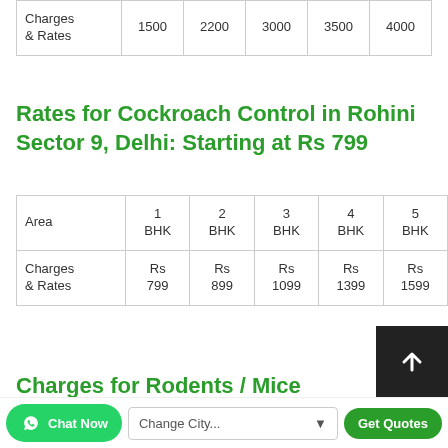|  | 1 BHK | 2 BHK | 3 BHK | 4 BHK | 5 BHK |
| --- | --- | --- | --- | --- | --- |
| Charges & Rates | 1500 | 2200 | 3000 | 3500 | 4000 |
Rates for Cockroach Control in Rohini Sector 9, Delhi: Starting at Rs 799
| Area | 1 BHK | 2 BHK | 3 BHK | 4 BHK | 5 BHK |
| --- | --- | --- | --- | --- | --- |
| Charges & Rates | Rs 799 | Rs 899 | Rs 1099 | Rs 1399 | Rs 1599 |
Charges for Rodents / Mice Control in Rohini...